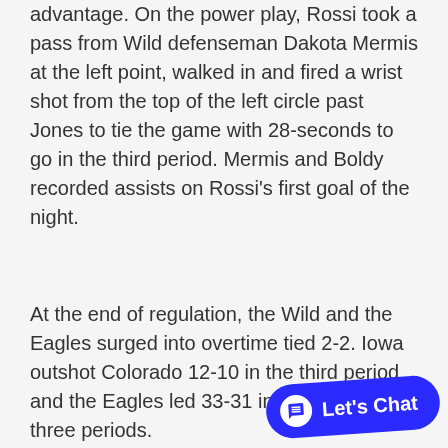advantage. On the power play, Rossi took a pass from Wild defenseman Dakota Mermis at the left point, walked in and fired a wrist shot from the top of the left circle past Jones to tie the game with 28-seconds to go in the third period. Mermis and Boldy recorded assists on Rossi's first goal of the night.
At the end of regulation, the Wild and the Eagles surged into overtime tied 2-2. Iowa outshot Colorado 12-10 in the third period and the Eagles led 33-31 in shots through three periods.
In overtime, Rossi drew a p breakaway at 1:10 of the period tha